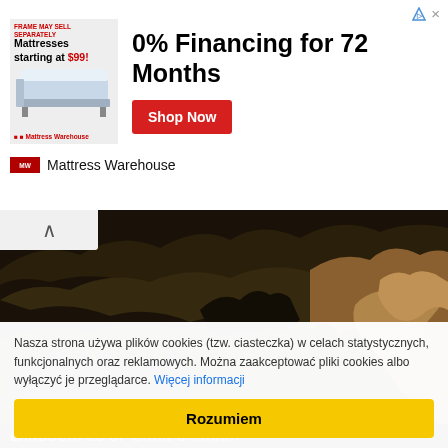[Figure (screenshot): Advertisement banner for Mattress Warehouse: '0% Financing for 72 Months' with Shop Now button and mattress image]
[Figure (photo): Aerial landscape photograph of Gran Canaria showing rocky mountains, pine forests, and canyon terrain with warm golden light]
LANDSCAPES OF GRAN CANARIA
Nasza strona używa plików cookies (tzw. ciasteczka) w celach statystycznych, funkcjonalnych oraz reklamowych. Można zaakceptować pliki cookies albo wyłączyć je przeglądarce. Więcej informacji
Rozumiem